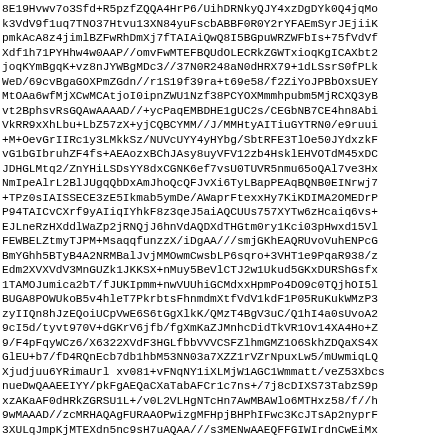8E19Hvwv7o3Sfd+R5pzfZQQA4HrP6/UihDRNkyQJY4xzDgDYk0Q4jqMo
k3VdV9f1uq7TNO37Htvu13XN84yuFscbABBF0R0Y2rYFAEmSyrJEjiiK
pmkAcA8z4jimlBZFwRhDmXj7fTAIAiQwQ8I5BGpuWRZWFbIs+75fVdVf
Xdf1h71PYHhw4w0AAP//omvFwMTEFBQUdOLECRkZGWTxioqKgICAXbt2
joqKYmBgqK+vz8nJYWBgMDc3//37N0R248aN0dHRX79+1dLSsrS0fPLk
WeD/69cvBgaGOXPmZGdn//r1S19f39ra+t69e58/f2ZiYoJPBbOxsUEY
MtOAa6wfMjXCwMCAtjoI0ipnZWU1Nzf38PCYOXMmmhpubm5MjRCXQ3yB
vt2BphsvRsGQAwAAAAD//+ycPaqEMBDHE1gUC2s/CEGbNB7CE4hn8Abi
VkRR9xXhLbu+LbZ57zX+yjCQBCYMM//J/MMHtyAITiuGYTRN0/e9ruui
+M+OevGrIIRc1y3LMkkSz/NUVcUYY4yHYbg/SbtRFE3TlOe50JYdxzkF
vG1bGIbruhZF4fs+AEAozxBChJAsy8uyVFV12zb4HsklEHVOTdM45xDC
JDHGLMtq2/ZnYHiLSDsYY8dxCGNK6ef7vsU0TUVR5nmu65oQAl7ve3Hx
NmIpeAlrL2BlJUgqQbDxAmJhoQcQFJvXi6TyLBapPEAqBQNB0EINrwj7
+TPz0sIAISSECE3zE5Ikmab5ymDe/AWaprFtexxHy7KiKDIMA2OMEDrP
P94TAICvCXrf9yAIiqIYhkF8z3qeJ5aiAQCUUs757XYTw6zHcaiq6vs+
EJLneRzHXddlWaZp2jRNQjJ6hnVdAQDXdTHGtm0ry1Kci03pHwxd15Vl
FEWBELZtmyTJPM+MsaqqfunzzX/iDgAA///smjGKhEAQRUvoVuhENPcG
BmYGhh5BTyB4A2NRMBalJvjMMOwmCwsbLP6sqro+3VHT1e9PqaR938/z
Edm2XVXVdV3MnGUZk1JKKSX+nMuy5BeVlCTJ2w1Ukud5GKxDURShGsfx
1TAMOJumica2bT/fJUKIpmm+nwVUUhiGCMdxxHpmPo4DO9c0TQjhOI5l
BUGA8POWUkoB5v4hleT7PkrbtsFhnmdmXtfVdV1kdF1P05RuKukWMzP3
zyIIQn8hJzEQoiUCpVwE6S6tGgXlkK/QMzT4BgV3uC/Q1hI4a0sUvoA2
9cI5d/tyvt970V+dGKrV6jfb/fgXmKaZJMnhcDidTkVR1Ov14XA4Ho+Z
9/F4pFqyWCz6/X6322XVdF3HGLfbbVVVCSFZlhmGMZ1O6SkhZDQaXS4X
GlEU+b7/fD4RQnEcb7db1hbM53NN03a7XZZ1rVZrNpuxLw5/mUwmiqLQ
Xjudjuu6YRimaUrl xv081+vFNqNY1iXLMjW1AGC1Wmmatt/veZ53Xbcs
nueDwQAAEEIYY/pkFgAEQaCXaTabAFCr1c7ns+/7j8cDIXS73TabzS9p
xzAKaAF0dHRkZGRSU1L+/v0L2VLHgNTcHn7AwMBAWlo6MTHxz58/f//h
9wMAAAD//zcMRHAQAgFURAAOPwizgMFHpjBHPhIFwc3KcJTsAp2nyprF
3XULqJmpKjMTEXdn5nc9sH7uAQAA///s3MENwAAEQFFGIWIrdnCwEiMx